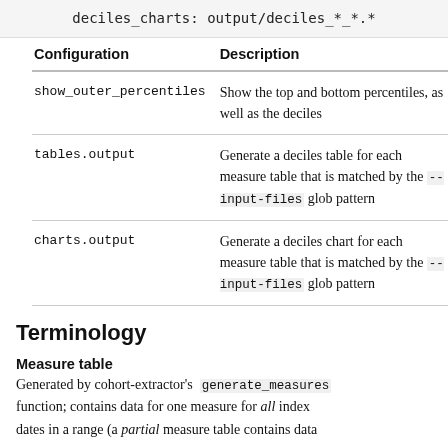deciles_charts: output/deciles_*_*.*
| Configuration | Description |
| --- | --- |
| show_outer_percentiles | Show the top and bottom percentiles, as well as the deciles |
| tables.output | Generate a deciles table for each measure table that is matched by the --input-files glob pattern |
| charts.output | Generate a deciles chart for each measure table that is matched by the --input-files glob pattern |
Terminology
Measure table
Generated by cohort-extractor's generate_measures function; contains data for one measure for all index dates in a range (a partial measure table contains data